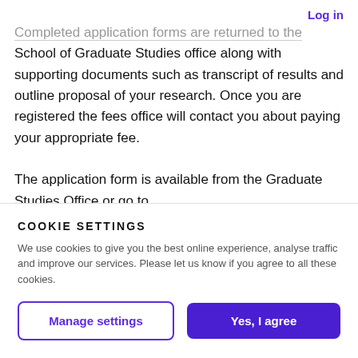Log in
Completed application forms are returned to the School of Graduate Studies office along with supporting documents such as transcript of results and outline proposal of your research. Once you are registered the fees office will contact you about paying your appropriate fee.

The application form is available from the Graduate Studies Office or go to
COOKIE SETTINGS
We use cookies to give you the best online experience, analyse traffic and improve our services. Please let us know if you agree to all these cookies.
Manage settings
Yes, I agree